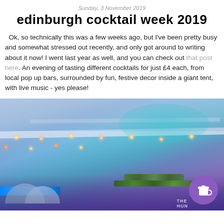Sunday, 3 November 2019
edinburgh cocktail week 2019
Ok, so technically this was a few weeks ago, but I've been pretty busy and somewhat stressed out recently, and only got around to writing about it now! I went last year as well, and you can check out that post here. An evening of tasting different cocktails for just £4 each, from local pop up bars, surrounded by fun, festive decor inside a giant tent, with live music - yes please!
[Figure (photo): Interior of a large tent at Edinburgh Cocktail Week 2019 showing colourful blue, teal and purple lighting on the tent ceiling, string lights, decorative greenery, umbrellas and bar stalls below, with a purple 'Buy Me a Coffee' button overlay in the bottom right corner.]